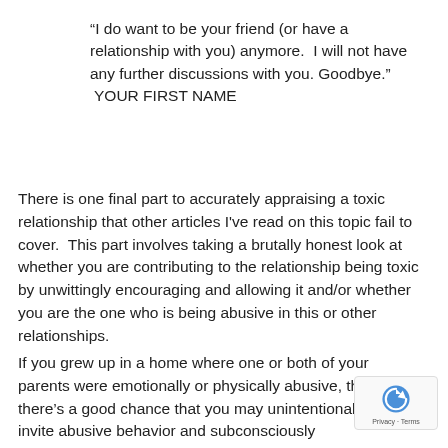“I do want to be your friend (or have a relationship with you) anymore.  I will not have any further discussions with you. Goodbye.”  YOUR FIRST NAME
There is one final part to accurately appraising a toxic relationship that other articles I've read on this topic fail to cover.  This part involves taking a brutally honest look at whether you are contributing to the relationship being toxic by unwittingly encouraging and allowing it and/or whether you are the one who is being abusive in this or other relationships.
If you grew up in a home where one or both of your parents were emotionally or physically abusive, th there’s a good chance that you may unintentional invite abusive behavior and subconsciously evaluaẕe it